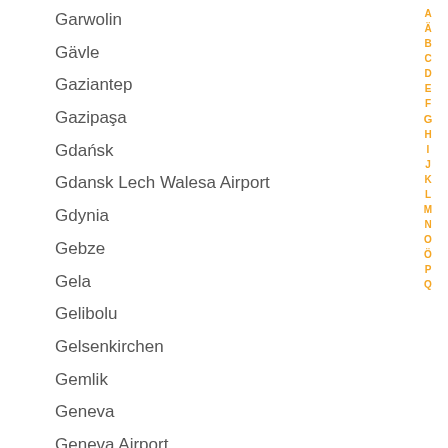Garwolin
Gävle
Gaziantep
Gazipaşa
Gdańsk
Gdansk Lech Walesa Airport
Gdynia
Gebze
Gela
Gelibolu
Gelsenkirchen
Gemlik
Geneva
Geneva Airport
Genoa